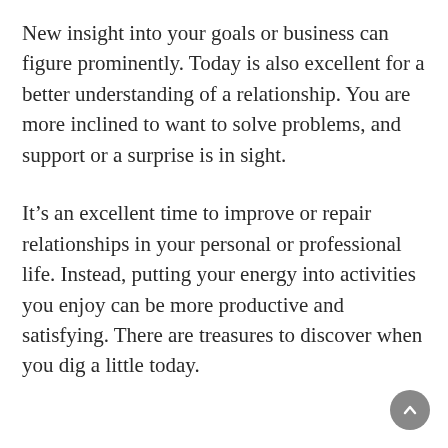New insight into your goals or business can figure prominently. Today is also excellent for a better understanding of a relationship. You are more inclined to want to solve problems, and support or a surprise is in sight.
It's an excellent time to improve or repair relationships in your personal or professional life. Instead, putting your energy into activities you enjoy can be more productive and satisfying. There are treasures to discover when you dig a little today.